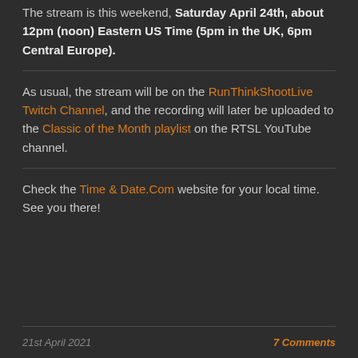The stream is this weekend, Saturday April 24th, about 12pm (noon) Eastern US Time (5pm in the UK, 6pm Central Europe).
As usual, the stream will be on the RunThinkShootLive Twitch Channel, and the recording will later be uploaded to the Classic of the Month playlist on the RTSL YouTube channel.
Check the Time & Date.Com website for your local time. See you there!
21st April 2021    7 Comments